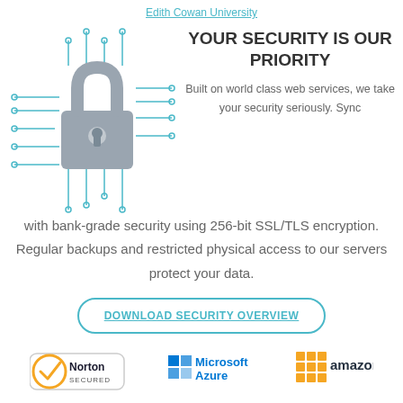Edith Cowan University
[Figure (illustration): Circuit board padlock illustration with teal circuit lines and a grey padlock icon in the center]
YOUR SECURITY IS OUR PRIORITY
Built on world class web services, we take your security seriously. Sync with bank-grade security using 256-bit SSL/TLS encryption. Regular backups and restricted physical access to our servers protect your data.
DOWNLOAD SECURITY OVERVIEW
[Figure (logo): Norton Secured logo, Microsoft Azure logo, Amazon logo]